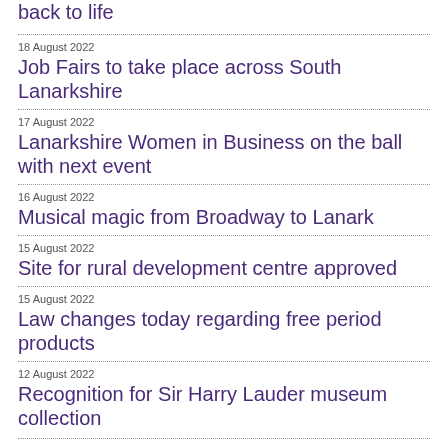back to life
18 August 2022
Job Fairs to take place across South Lanarkshire
17 August 2022
Lanarkshire Women in Business on the ball with next event
16 August 2022
Musical magic from Broadway to Lanark
15 August 2022
Site for rural development centre approved
15 August 2022
Law changes today regarding free period products
12 August 2022
Recognition for Sir Harry Lauder museum collection
Archive